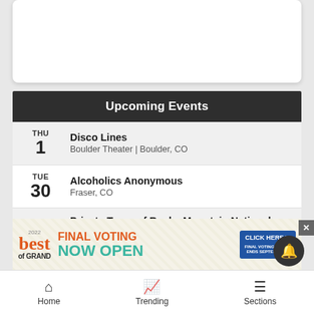[Figure (screenshot): Top white card area (advertisement or content placeholder)]
Upcoming Events
THU 1 — Disco Lines | Boulder Theater | Boulder, CO
TUE 30 — Alcoholics Anonymous | Fraser, CO
TUE 30 — Private Tours of Rocky Mountain National Park | Devil's Thumb Ranch | Tabernash, CO
WED 31 — (partially visible)
[Figure (infographic): 2022 Best of Grand advertisement banner — FINAL VOTING NOW OPEN, CLICK HERE, Final Voting Round Ends September 1]
Home | Trending | Sections